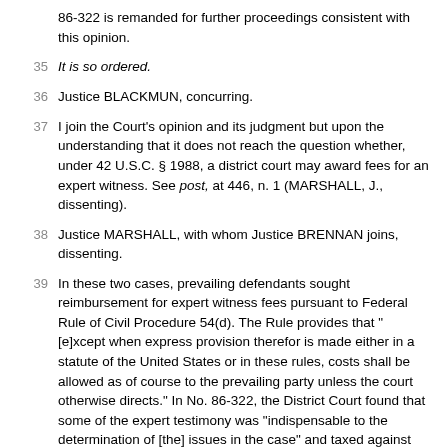86-322 is remanded for further proceedings consistent with this opinion.
35  It is so ordered.
36  Justice BLACKMUN, concurring.
37  I join the Court's opinion and its judgment but upon the understanding that it does not reach the question whether, under 42 U.S.C. § 1988, a district court may award fees for an expert witness. See post, at 446, n. 1 (MARSHALL, J., dissenting).
38  Justice MARSHALL, with whom Justice BRENNAN joins, dissenting.
39  In these two cases, prevailing defendants sought reimbursement for expert witness fees pursuant to Federal Rule of Civil Procedure 54(d). The Rule provides that "[e]xcept when express provision therefor is made either in a statute of the United States or in these rules, costs shall be allowed as of course to the prevailing party unless the court otherwise directs." In No. 86-322, the District Court found that some of the expert testimony was "indispensable to the determination of [the] issues in the case" and taxed against the plaintiff the portion of witness fees attributable to that testimony. 102